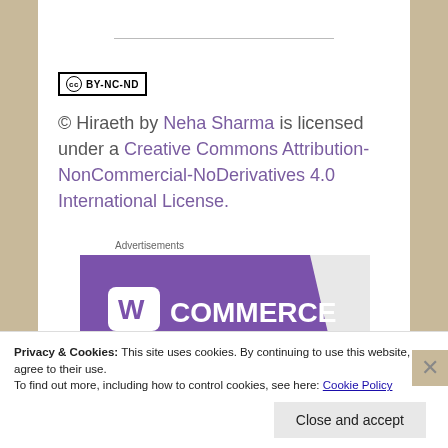[Figure (logo): Creative Commons BY-NC-ND license badge with CC circle icon and text BY-NC-ND]
© Hiraeth by Neha Sharma is licensed under a Creative Commons Attribution-NonCommercial-NoDerivatives 4.0 International License.
Advertisements
[Figure (illustration): WooCommerce advertisement banner with purple background and teal accent, showing WooCommerce logo with speech bubble icon]
Privacy & Cookies: This site uses cookies. By continuing to use this website, you agree to their use.
To find out more, including how to control cookies, see here: Cookie Policy
Close and accept